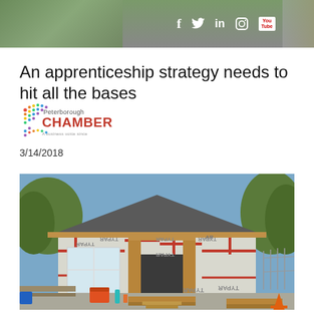Social media icons: f (Facebook), Twitter, in (LinkedIn), Instagram, YouTube
An apprenticeship strategy needs to hit all the bases
[Figure (logo): Peterborough Chamber of Commerce logo with colorful dots and red CHAMBER text]
3/14/2018
[Figure (photo): A house under construction with TYPAR housewrap visible on the walls, exposed wood framing around the entrance, a picnic table and cooler in the foreground, trees in the background]